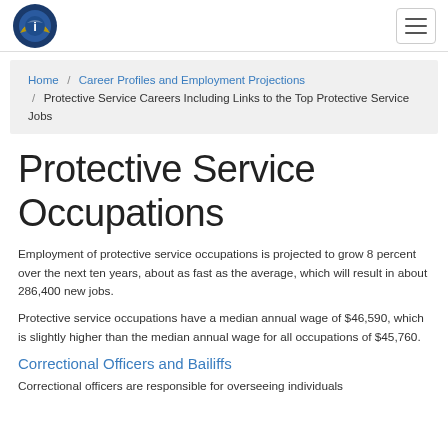[Logo] Protective Service Careers — navigation header
Home / Career Profiles and Employment Projections / Protective Service Careers Including Links to the Top Protective Service Jobs
Protective Service Occupations
Employment of protective service occupations is projected to grow 8 percent over the next ten years, about as fast as the average, which will result in about 286,400 new jobs.
Protective service occupations have a median annual wage of $46,590, which is slightly higher than the median annual wage for all occupations of $45,760.
Correctional Officers and Bailiffs
Correctional officers are responsible for overseeing individuals